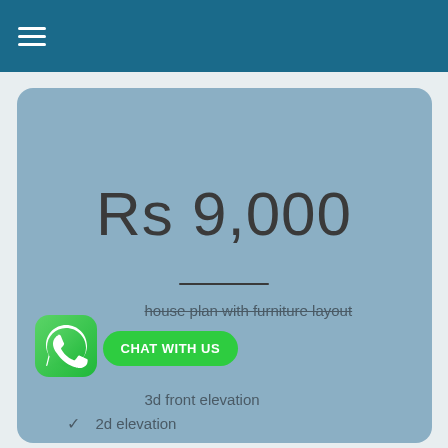≡
Rs 9,000
house plan with furniture layout
[Figure (logo): WhatsApp logo icon — green rounded square with white phone/chat bubble icon]
CHAT WITH US
3d front elevation
✓  2d elevation